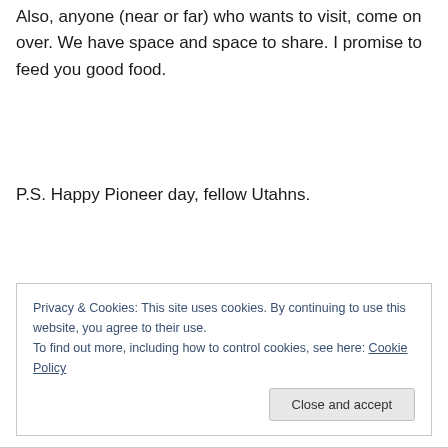Also, anyone (near or far) who wants to visit, come on over. We have space and space to share. I promise to feed you good food.
P.S. Happy Pioneer day, fellow Utahns.
Privacy & Cookies: This site uses cookies. By continuing to use this website, you agree to their use.
To find out more, including how to control cookies, see here: Cookie Policy